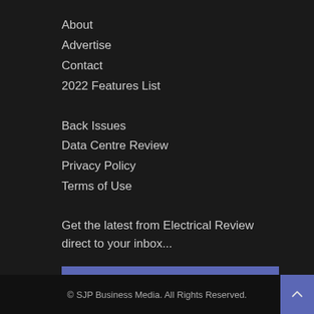About
Advertise
Contact
2022 Features List
Back Issues
Data Centre Review
Privacy Policy
Terms of Use
Get the latest from Electrical Review direct to your inbox...
Subscribe to the newsletter
© SJP Business Media. All Rights Reserved.